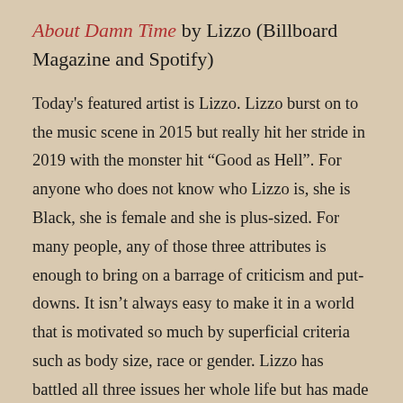About Damn Time by Lizzo (Billboard Magazine and Spotify)
Today's featured artist is Lizzo. Lizzo burst on to the music scene in 2015 but really hit her stride in 2019 with the monster hit “Good as Hell”. For anyone who does not know who Lizzo is, she is Black, she is female and she is plus-sized. For many people, any of those three attributes is enough to bring on a barrage of criticism and put-downs. It isn’t always easy to make it in a world that is motivated so much by superficial criteria such as body size, race or gender. Lizzo has battled all three issues her whole life but has made her greatest life statement by the nature of how she has embraced the whole of who she is. Lizzo has produced songs that celebrate her femininity, her colour and/or